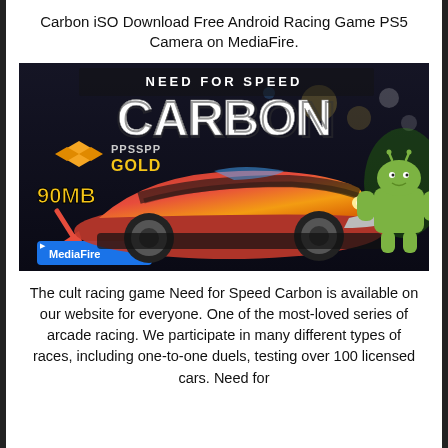Carbon iSO Download Free Android Racing Game PS5 Camera on MediaFire.
[Figure (screenshot): Need for Speed Carbon game promotional image showing the game logo 'NEED FOR SPEED CARBON' in bold stylized text, a red sports car, PPSSPP GOLD logo, '90MB' text, a red arrow pointing to a MediaFire download button, and an Android mascot robot on the right side. Dark urban background.]
The cult racing game Need for Speed Carbon is available on our website for everyone. One of the most-loved series of arcade racing. We participate in many different types of races, including one-to-one duels, testing over 100 licensed cars. Need for